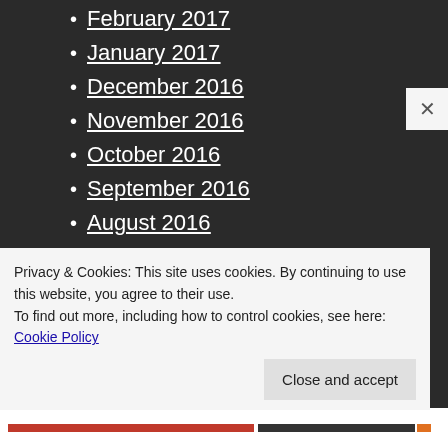February 2017
January 2017
December 2016
November 2016
October 2016
September 2016
August 2016
July 2016
June 2016
May 2016
April 2016
March 2016
Privacy & Cookies: This site uses cookies. By continuing to use this website, you agree to their use.
To find out more, including how to control cookies, see here: Cookie Policy
Close and accept